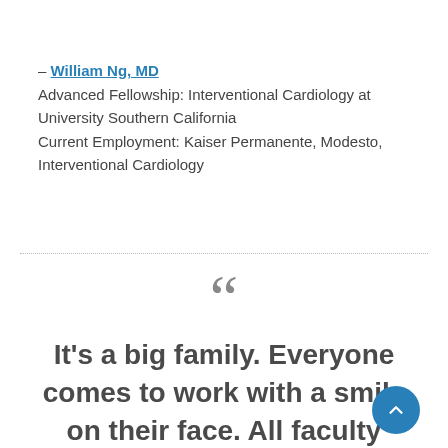– William Ng, MD
Advanced Fellowship: Interventional Cardiology at University Southern California
Current Employment: Kaiser Permanente, Modesto, Interventional Cardiology
It's a big family. Everyone comes to work with a smile on their face. All faculty memb… want to teach, and are willing